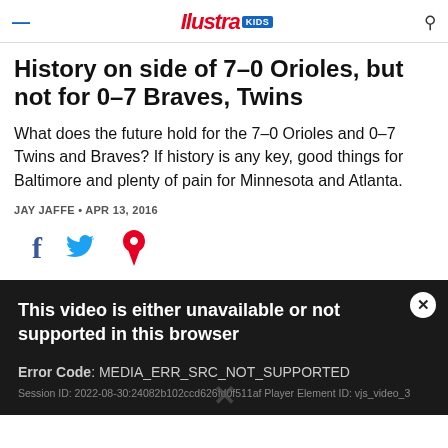Ilustra KIDS
History on side of 7–0 Orioles, but not for 0–7 Braves, Twins
What does the future hold for the 7–0 Orioles and 0–7 Twins and Braves? If history is any key, good things for Baltimore and plenty of pain for Minnesota and Atlanta.
JAY JAFFE · APR 13, 2016
[Figure (other): Social sharing icons: Facebook (f), Twitter (bird), Pinterest (P)]
[Figure (screenshot): Video error message block: 'This video is either unavailable or not supported in this browser'. Error Code: MEDIA_ERR_SRC_NOT_SUPPORTED. Session ID: 2022-08-30:24082b102ccd626fd0f511af Player Element ID: vjs_video_3]